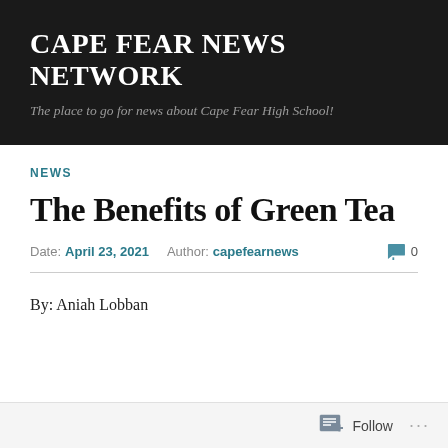CAPE FEAR NEWS NETWORK
The place to go for news about Cape Fear High School!
NEWS
The Benefits of Green Tea
Date: April 23, 2021   Author: capefearnews   0
By: Aniah Lobban
Follow